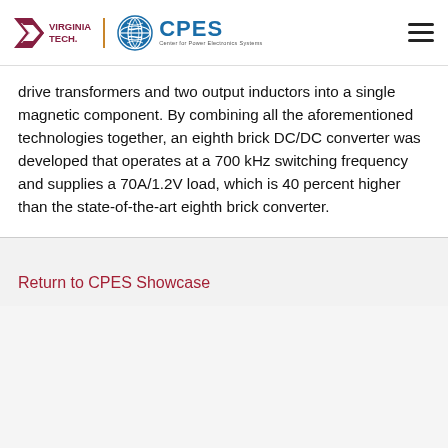Virginia Tech | CPES Center for Power Electronics Systems
drive transformers and two output inductors into a single magnetic component. By combining all the aforementioned technologies together, an eighth brick DC/DC converter was developed that operates at a 700 kHz switching frequency and supplies a 70A/1.2V load, which is 40 percent higher than the state-of-the-art eighth brick converter.
Return to CPES Showcase